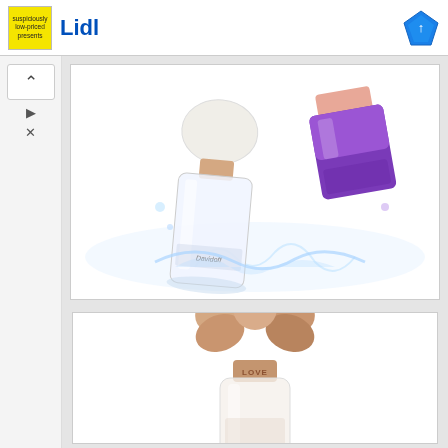[Figure (screenshot): Lidl advertisement banner with yellow logo icon, blue 'Lidl' text, and blue diamond icon on the right. Small navigation icons on left side.]
[Figure (photo): Two perfume bottles splashing in water — a clear/white bottle with rose gold cap and a purple/violet square bottle, surrounded by water splashes on white background.]
[Figure (photo): A single perfume bottle with an ornate rose gold sculptural cap shaped like a flower/bow, with a clear glass body, partially visible on white background.]